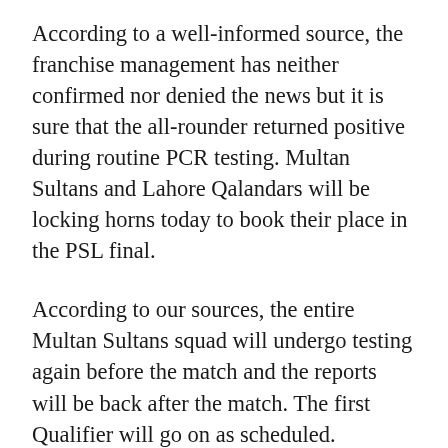According to a well-informed source, the franchise management has neither confirmed nor denied the news but it is sure that the all-rounder returned positive during routine PCR testing. Multan Sultans and Lahore Qalandars will be locking horns today to book their place in the PSL final.
According to our sources, the entire Multan Sultans squad will undergo testing again before the match and the reports will be back after the match. The first Qualifier will go on as scheduled.
Yesterday, some of the leading players and one supporting staff member of Peshawar Zalmi also tested positive for coronavirus. According to reports, Peshawar Zalmi players, Ben Cutting